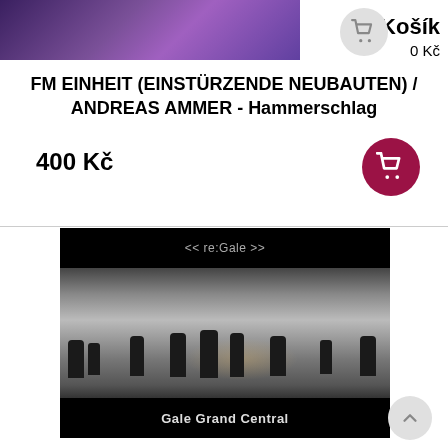[Figure (screenshot): Purple/blue toned concert or stage photo used as top banner]
Košík
0 Kč
FM EINHEIT (EINSTÜRZENDE NEUBAUTEN) / ANDREAS AMMER - Hammerschlag
400 Kč
[Figure (photo): Album cover image showing black background with '<<re:Gale>>' text at top, industrial black-and-white photograph of silhouetted figures in a factory or industrial hall with light/fire in background, and 'Gale Grand Central' text at bottom on black background]